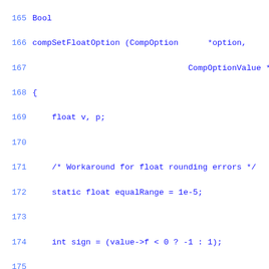165 Bool
166 compSetFloatOption (CompOption      *option,
167                                 CompOptionValue *value)
168 {
169     float v, p;
170 
171     /* Workaround for float rounding errors */
172     static float equalRange = 1e-5;
173 
174     int sign = (value->f < 0 ? -1 : 1);
175 
176     p = 1.0f / option->rest.f.precision;
177     v = ((int) (value->f * p + sign * 0.5f)) /
178 
179     if (v < (option->rest.f.min - equalRange) |
180         v > (option->rest.f.max + equalRange))
181         return FALSE;
182 
183     if (v > (option->value.f - equalRange) &&
184         v < (option->value.f + equalRange))
185         return FALSE;
186 
187     option->value.f = v;
188 
189     return TRUE;
190 }
191 
192 Bool
193 compSetStringOption (CompOption      *option,
194                      CompOptionValue *value)